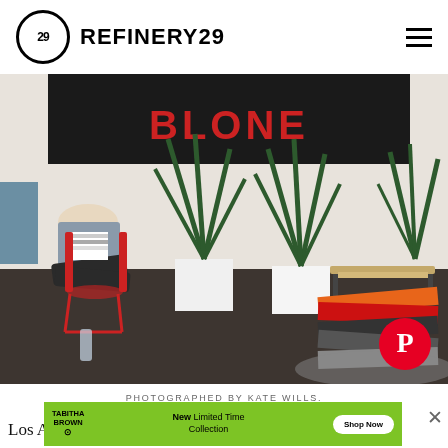REFINERY29
[Figure (photo): Interior room photo: woman sitting cross-legged on a red chair holding books, large snake plants in white pots, a woven bench, stacked magazines on floor, large black sign with red text on wall. Pinterest button overlay in bottom right.]
PHOTOGRAPHED BY KATE WILLS.
[Figure (infographic): Green advertisement banner for Tabitha Brown New Limited Time Collection with Shop Now button]
Los An... nts"